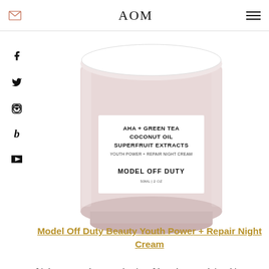AOM
[Figure (photo): A glass jar of Model Off Duty Beauty Youth Power + Repair Night Cream with a pink/blush tinted cream visible inside. The label reads: AHA + GREEN TEA / COCONUT OIL / SUPERFRUIT EXTRACTS / YOUTH POWER + REPAIR NIGHT CREAM / MODEL OFF DUTY / 50ML | 2 OZ]
Model Off Duty Beauty Youth Power + Repair Night Cream
It's been around two weeks since I have been applying this cream diligently, and the truth is, I am beyond impressed. My skin is plumper, my dark spots have disappeared, and I get to bless my skin with the good of green tea, coconut oil, apricot kernel oil, bilberries...